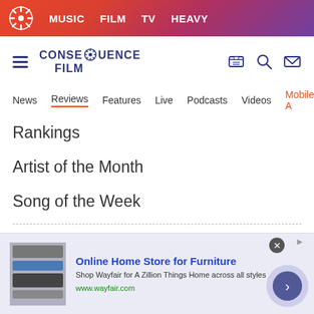MUSIC  FILM  TV  HEAVY
[Figure (logo): Consequence Film logo with gear icon, hamburger menu, and icons for tickets, search, email]
News  Reviews  Features  Live  Podcasts  Videos  Mobile A
Rankings
Artist of the Month
Song of the Week
Live
Concert Tickets
Festival Tickets
Festival News
[Figure (screenshot): Advertisement banner: Online Home Store for Furniture - Shop Wayfair for A Zillion Things Home across all styles - www.wayfair.com]